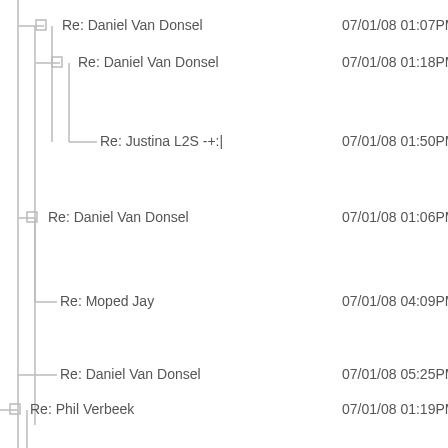Re: Daniel Van Donsel   07/01/08 01:07PM
Re: Daniel Van Donsel   07/01/08 01:18PM
Re: Justina L2S -+:|   07/01/08 01:50PM
Re: Daniel Van Donsel   07/01/08 01:06PM
Re: Moped Jay   07/01/08 04:09PM
Re: Daniel Van Donsel   07/01/08 05:25PM
Re: Phil Verbeek   07/01/08 01:19PM
Re: Daniel Van Donsel   07/01/08 01:27PM
Re: Derf Yenrab   07/01/08 02:39PM
Re: Daniel Van Donsel   07/01/08 04:50PM
Re: rockles   07/01/08 03:10PM
Re: Susan   07/01/08 03:31PM
Re: Phil Verbeek   07/01/08 03:34PM